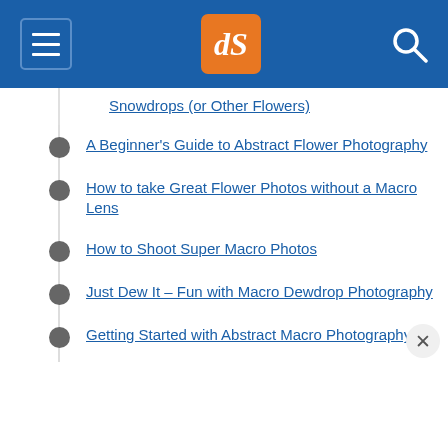dPS navigation header with hamburger menu, dPS logo, and search icon
How to Photograph Beautiful Winter Snowdrops (or Other Flowers)
A Beginner's Guide to Abstract Flower Photography
How to take Great Flower Photos without a Macro Lens
How to Shoot Super Macro Photos
Just Dew It – Fun with Macro Dewdrop Photography
Getting Started with Abstract Macro Photography